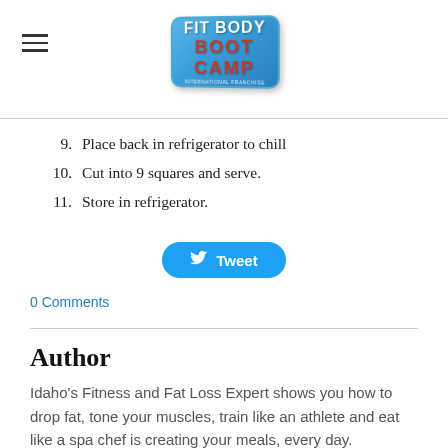Fit Body Boot Camp
9. Place back in refrigerator to chill
10. Cut into 9 squares and serve.
11. Store in refrigerator.
Tweet
0 Comments
Author
Idaho's Fitness and Fat Loss Expert shows you how to drop fat, tone your muscles, train like an athlete and eat like a spa chef is creating your meals, every day.